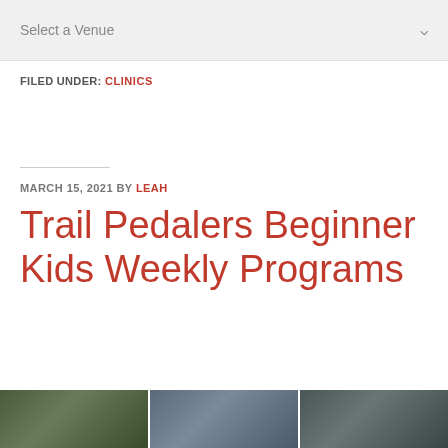Select a Venue
FILED UNDER: CLINICS
MARCH 15, 2021 BY LEAH
Trail Pedalers Beginner Kids Weekly Programs
[Figure (photo): Three outdoor/nature photos shown as a strip at the bottom of the page]